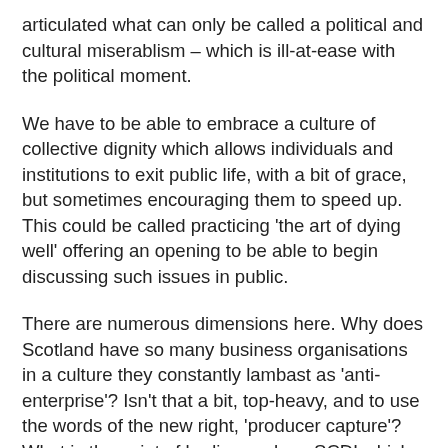articulated what can only be called a political and cultural miserablism – which is ill-at-ease with the political moment.
We have to be able to embrace a culture of collective dignity which allows individuals and institutions to exit public life, with a bit of grace, but sometimes encouraging them to speed up. This could be called practicing 'the art of dying well' offering an opening to be able to begin discussing such issues in public.
There are numerous dimensions here. Why does Scotland have so many business organisations in a culture they constantly lambast as 'anti-enterprise'? Isn't that a bit, top-heavy, and to use the words of the new right, 'producer capture'? What is the point of bodies such as SCDI which stopped having any real